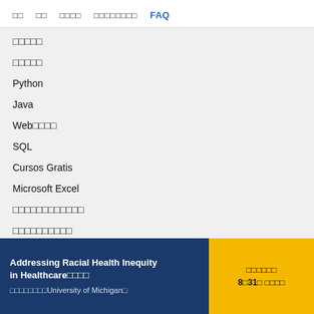□□   □□   □□□□   □□□□□□□□□   FAQ
□□□□□
□□□□□
Python
Java
Web□□□□
SQL
Cursos Gratis
Microsoft Excel
□□□□□□□□□□□□
□□□□□□□□□□
□□
Addressing Racial Health Inequity in Healthcare□□□□
□□□□□□□□University of Michigan□
□□□□□□ 8□31□ □□□□